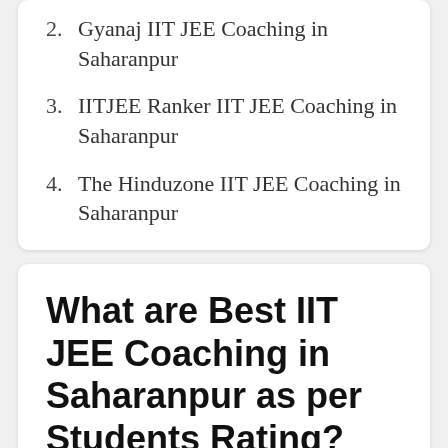2. Gyanaj IIT JEE Coaching in Saharanpur
3. IITJEE Ranker IIT JEE Coaching in Saharanpur
4. The Hinduzone IIT JEE Coaching in Saharanpur
What are Best IIT JEE Coaching in Saharanpur as per Students Rating?